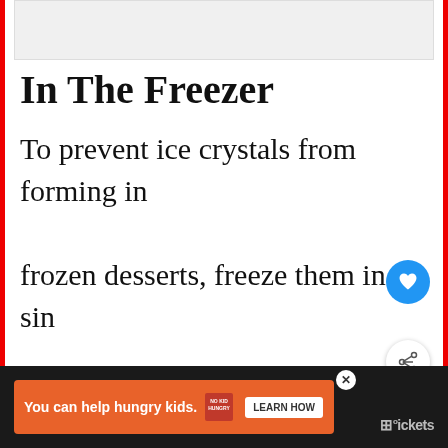[Figure (other): Light gray advertisement placeholder box at top of page]
In The Freezer
To prevent ice crystals from forming in frozen desserts, freeze them in a single layer rather than stacking them
[Figure (other): Blue circular heart/save button floating on right side]
[Figure (other): White circular share button with share icon floating on right side]
[Figure (other): What's Next widget showing thumbnail and headline: What happens if you eat...]
[Figure (other): Orange advertisement banner: You can help hungry kids. No Kid Hungry. Learn How. With dark bottom navigation bar.]